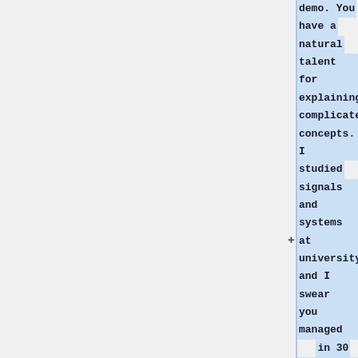demo. You have a natural talent for explaining complicated concepts. I studied signals and systems at university and I swear you managed in 30 minutes to explain the same material that took my professors nearly 6 months! I'm